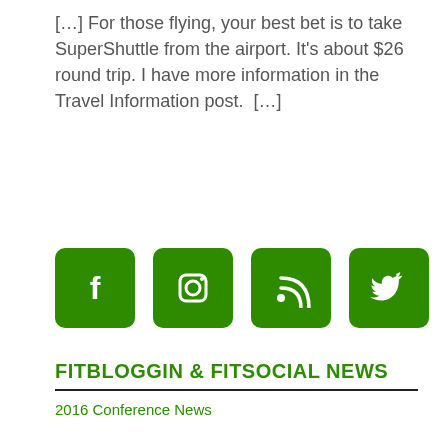[…] For those flying, your best bet is to take SuperShuttle from the airport. It's about $26 round trip. I have more information in the Travel Information post.  […]
[Figure (infographic): Four green square icon buttons with rounded corners representing social media platforms: Facebook (f), Instagram (camera), RSS feed, and Twitter (bird).]
FITBLOGGIN & FITSOCIAL NEWS
2016 Conference News